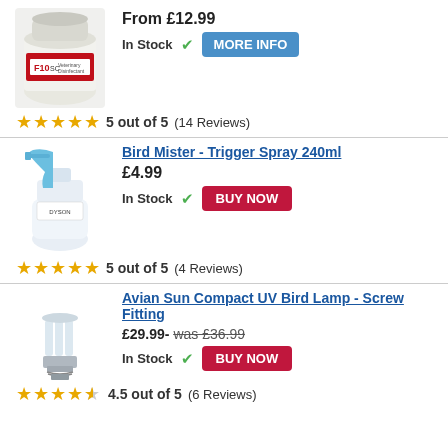[Figure (photo): F10 SC Veterinary Disinfectant jar, white container with red and white label]
From £12.99
In Stock ✓ MORE INFO
5 out of 5 (14 Reviews)
Bird Mister - Trigger Spray 240ml
[Figure (photo): Blue trigger spray bottle, 240ml, transparent with blue nozzle]
£4.99
In Stock ✓ BUY NOW
5 out of 5 (4 Reviews)
Avian Sun Compact UV Bird Lamp - Screw Fitting
[Figure (photo): Compact UV energy saving bulb with screw fitting, white/grey]
£29.99- was £36.99
In Stock ✓ BUY NOW
4.5 out of 5 (6 Reviews)